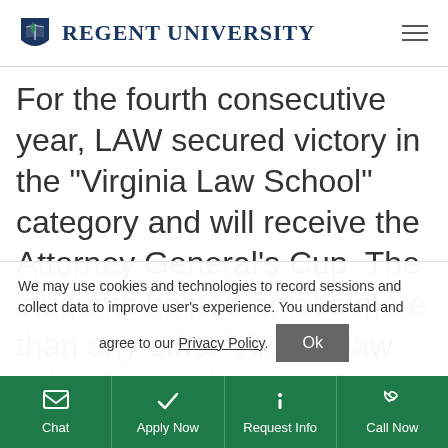Regent University
For the fourth consecutive year, LAW secured victory in the “Virginia Law School” category and will receive the Attorney General’s Cup. The students helped amass more than any other Virginia law school — a whopping 598 pounds of food, competing with law
We may use cookies and technologies to record sessions and collect data to improve user's experience. You understand and agree to our Privacy Policy.
Chat | Apply Now | Request Info | Call Now